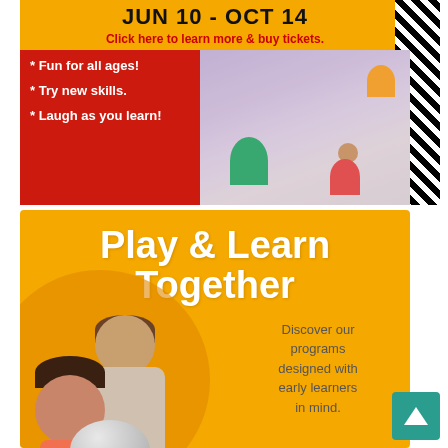JUN 10 - OCT 14
Click here to learn more & buy tickets.
* Fun for all ages!
* Try new skills.
* Laugh as you learn!
[Figure (photo): Children playing in what appears to be an indoor play area with sand/foam pit]
Play & Learn Together
Discover our programs designed with early learners in mind.
[Figure (photo): Adult man and young child looking at a glass globe or dome together]